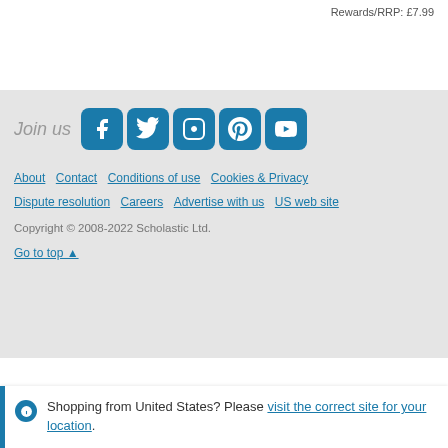Rewards/RRP: £7.99
Join us
[Figure (illustration): Social media icons: Facebook, Twitter, Instagram, Pinterest, YouTube]
About · Contact · Conditions of use · Cookies & Privacy · Dispute resolution · Careers · Advertise with us · US web site
Copyright © 2008-2022 Scholastic Ltd.
Go to top ▲
Shopping from United States? Please visit the correct site for your location.